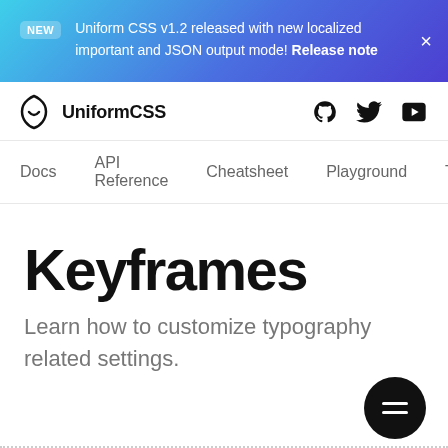NEW Uniform CSS v1.2 released with new localized important and JSON output mode! Release note ×
UniformCSS
Docs  API Reference  Cheatsheet  Playground  Tut
Keyframes
Learn how to customize typography related settings.